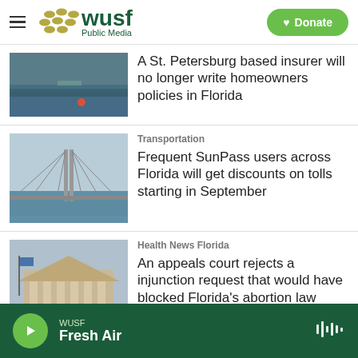WUSF Public Media — Donate
[Figure (photo): Flooded street scene with water and an orange marker]
A St. Petersburg based insurer will no longer write homeowners policies in Florida
[Figure (photo): Cable-stayed bridge (Sunshine Skyway Bridge) over water]
Transportation
Frequent SunPass users across Florida will get discounts on tolls starting in September
[Figure (photo): Neoclassical courthouse or government building with columns]
Health News Florida
An appeals court rejects a injunction request that would have blocked Florida's abortion law
WUSF Fresh Air